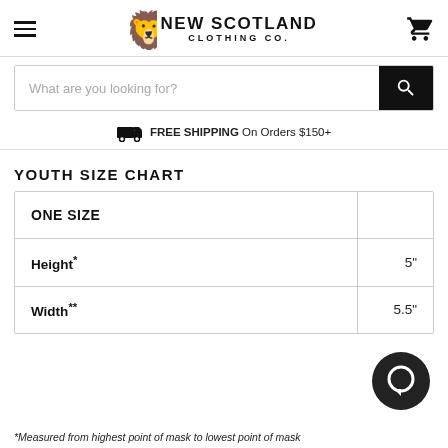New Scotland Clothing Co.
What are you looking for?
FREE SHIPPING On Orders $150+
YOUTH SIZE CHART
| ONE SIZE |  |
| --- | --- |
| Height* | 5" |
| Width** | 5.5" |
*Measured from highest point of mask to lowest point of mask